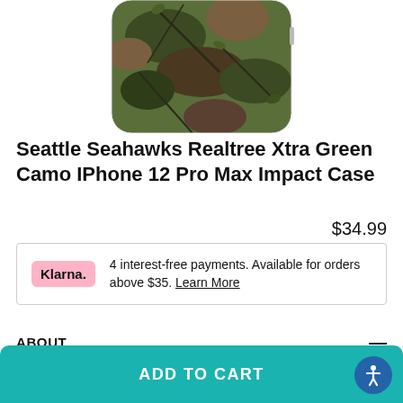[Figure (photo): Partial product image of a camo iPhone case (Seattle Seahawks Realtree Xtra Green Camo design) showing top portion of case with camouflage pattern]
Seattle Seahawks Realtree Xtra Green Camo IPhone 12 Pro Max Impact Case
$34.99
4 interest-free payments. Available for orders above $35. Learn More
ABOUT
The NFL® Seattle Seahawks Realtree Xtra® Green Camo iPhone 12 Pro Max Impact Case is named properly for its extra effectiveness. The pattern on the Seattle Seahawks Realtree Xtra® Green Camo iPhone 12 Pro Max Impact Case
ADD TO CART